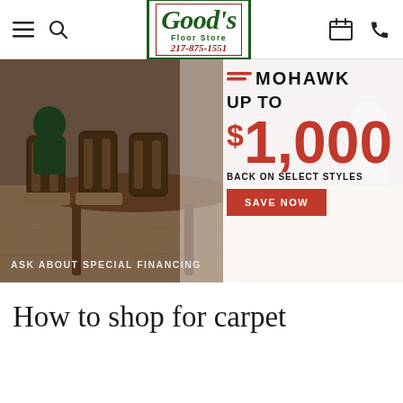Good's Floor Store - 217-875-1551
[Figure (photo): Promotional banner for Mohawk flooring. Shows dining room scene with wood chairs and table on light hardwood floor. Right side overlay reads: MOHAWK, UP TO $1,000 BACK ON SELECT STYLES, SAVE NOW button. Bottom left: ASK ABOUT SPECIAL FINANCING.]
How to shop for carpet